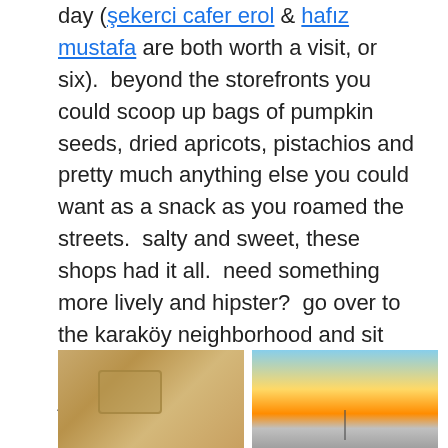day (şekerci cafer erol & hafız mustafa are both worth a visit, or six).  beyond the storefronts you could scoop up bags of pumpkin seeds, dried apricots, pistachios and pretty much anything else you could want as a snack as you roamed the streets.  salty and sweet, these shops had it all.  need something more lively and hipster?  go over to the karaköy neighborhood and sit outside with a coffee or a beer and just people watch (we went to tükkan).  the bars and cafes lit up with the soft glow of edison lights had such a great, fun vibe that made you feel like you were not surrounded by millions and millions of other people on all sides of you.  a really fantastic area that we just happened to stumble upon close to the camping shopping district.
[Figure (photo): Two side-by-side photos: left photo shows a glass or drink item with warm brown tones; right photo shows a sunset or dusk skyline over water with orange and blue sky.]